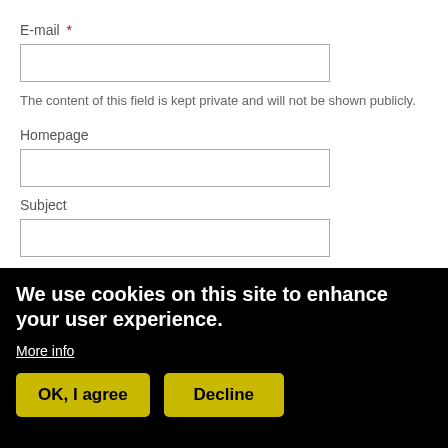E-mail *
The content of this field is kept private and will not be shown publicly.
Homepage
Subject
We use cookies on this site to enhance your user experience.
More info
OK, I agree
Decline